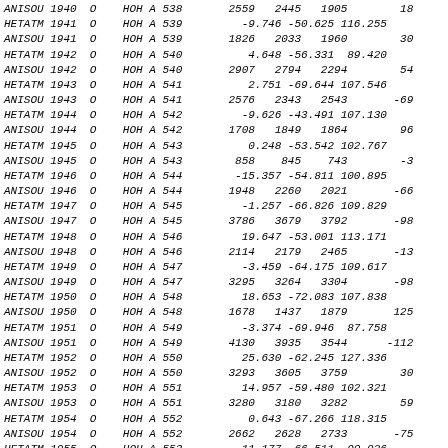PDB coordinate data listing HETATM/ANISOU records for HOH (water) molecules, entries 1940-1955, chain A, residues 538-553